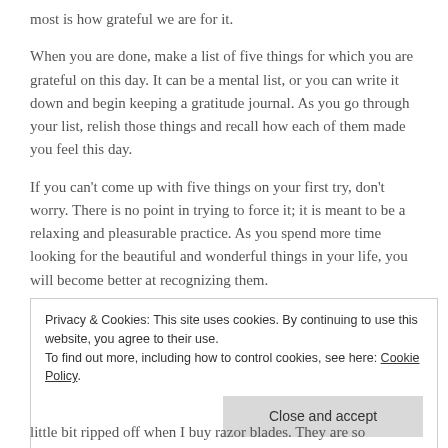most is how grateful we are for it.
When you are done, make a list of five things for which you are grateful on this day. It can be a mental list, or you can write it down and begin keeping a gratitude journal. As you go through your list, relish those things and recall how each of them made you feel this day.
If you can't come up with five things on your first try, don't worry. There is no point in trying to force it; it is meant to be a relaxing and pleasurable practice. As you spend more time looking for the beautiful and wonderful things in your life, you will become better at recognizing them.
Privacy & Cookies: This site uses cookies. By continuing to use this website, you agree to their use.
To find out more, including how to control cookies, see here: Cookie Policy
[Close and accept]
little bit ripped off when I buy razor blades. They are so